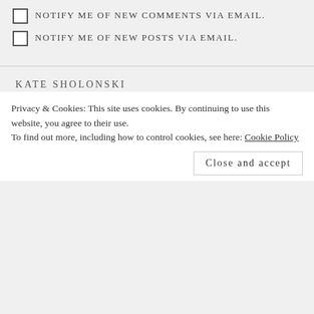NOTIFY ME OF NEW COMMENTS VIA EMAIL.
NOTIFY ME OF NEW POSTS VIA EMAIL.
KATE SHOLONSKI
[Figure (photo): Circular avatar photo of Kate Sholonski with a red border, showing a person with reddish-brown hair against a dark background.]
Privacy & Cookies: This site uses cookies. By continuing to use this website, you agree to their use.
To find out more, including how to control cookies, see here: Cookie Policy
Close and accept